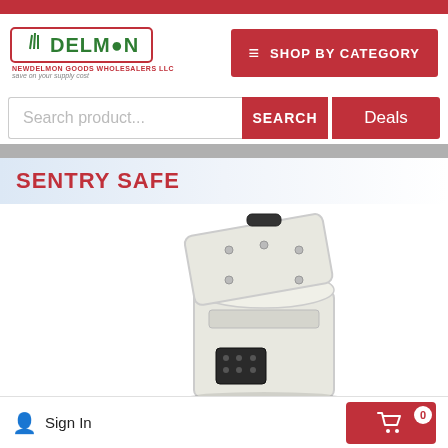[Figure (logo): Delmon logo with green text and red border, tagline 'save on your supply cost']
SHOP BY CATEGORY
Search product...
SEARCH
Deals
SENTRY SAFE
[Figure (photo): A white Sentry Safe open showing interior, photographed from above-front angle]
Sign In
0